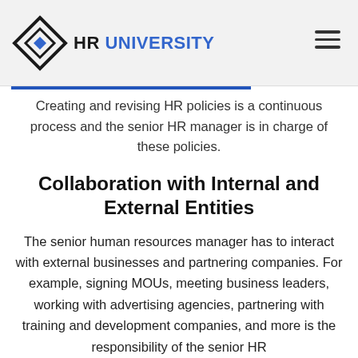HR UNIVERSITY
Creating and revising HR policies is a continuous process and the senior HR manager is in charge of these policies.
Collaboration with Internal and External Entities
The senior human resources manager has to interact with external businesses and partnering companies. For example, signing MOUs, meeting business leaders, working with advertising agencies, partnering with training and development companies, and more is the responsibility of the senior HR